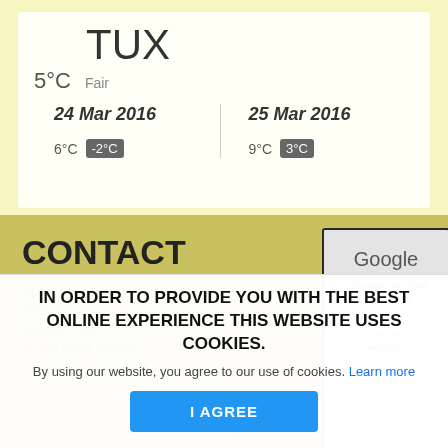TUX
5°C   Fair
24 Mar 2016   6°C  -2°C
25 Mar 2016   9°C  3°C
CONTACT
Apartements Alpina Tux
6295 Tux
Austria, Tirol
T +43 5297 87533
F +43 5287 87533 7
[Figure (screenshot): Google Maps embed showing error: This page can't load Google Maps]
IN ORDER TO PROVIDE YOU WITH THE BEST ONLINE EXPERIENCE THIS WEBSITE USES COOKIES.
By using our website, you agree to our use of cookies. Learn more
I AGREE